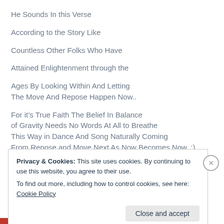He Sounds In this Verse
According to the Story Like
Countless Other Folks Who Have
Attained Enlightenment through the
Ages By Looking Within And Letting
The Move And Repose Happen Now..
For it’s True Faith The Belief In Balance
of Gravity Needs No Words At All to Breathe
This Way in Dance And Song Naturally Coming
From Repose and Move Next As Now Becomes Now..:)
Liked by 1 person
Privacy & Cookies: This site uses cookies. By continuing to use this website, you agree to their use.
To find out more, including how to control cookies, see here: Cookie Policy
Close and accept